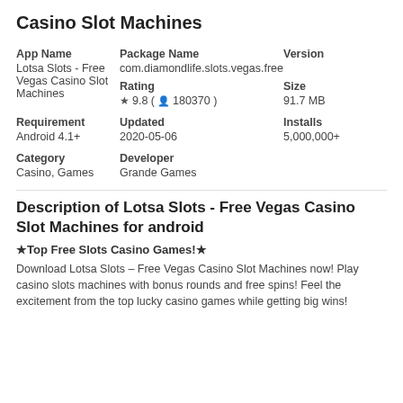Casino Slot Machines
| App Name | Package Name | Version |
| --- | --- | --- |
| Lotsa Slots - Free Vegas Casino Slot Machines | com.diamondlife.slots.vegas.free |  |
|  | Rating | Size |
|  | ★ 9.8 ( 👤 180370 ) | 91.7 MB |
| Requirement | Updated | Installs |
| Android 4.1+ | 2020-05-06 | 5,000,000+ |
| Category | Developer |  |
| Casino, Games | Grande Games |  |
Description of Lotsa Slots - Free Vegas Casino Slot Machines for android
★Top Free Slots Casino Games!★
Download Lotsa Slots – Free Vegas Casino Slot Machines now! Play casino slots machines with bonus rounds and free spins! Feel the excitement from the top lucky casino games while getting big wins!